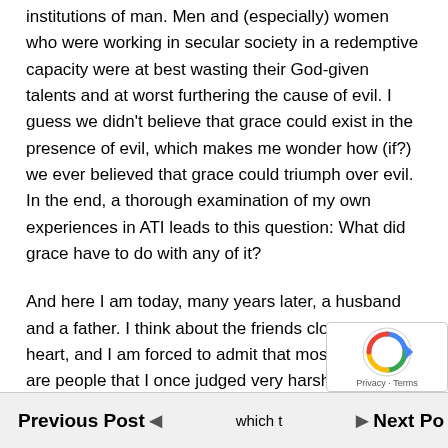institutions of man. Men and (especially) women who were working in secular society in a redemptive capacity were at best wasting their God-given talents and at worst furthering the cause of evil. I guess we didn't believe that grace could exist in the presence of evil, which makes me wonder how (if?) we ever believed that grace could triumph over evil. In the end, a thorough examination of my own experiences in ATI leads to this question: What did grace have to do with any of it?
And here I am today, many years later, a husband and a father. I think about the friends closest to my heart, and I am forced to admit that most of them are people that I once judged very harshly for which t
Previous Post   ◄   which t   ►   Next Po...